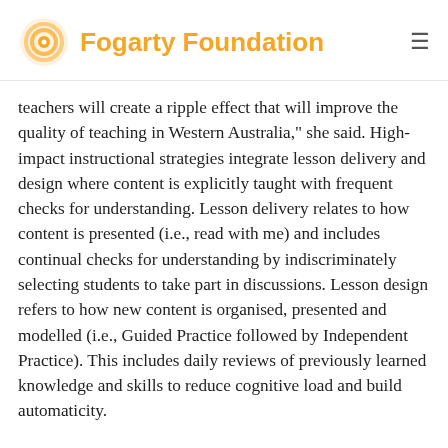Fogarty Foundation
teachers will create a ripple effect that will improve the quality of teaching in Western Australia," she said. High-impact instructional strategies integrate lesson delivery and design where content is explicitly taught with frequent checks for understanding. Lesson delivery relates to how content is presented (i.e., read with me) and includes continual checks for understanding by indiscriminately selecting students to take part in discussions. Lesson design refers to how new content is organised, presented and modelled (i.e., Guided Practice followed by Independent Practice). This includes daily reviews of previously learned knowledge and skills to reduce cognitive load and build automaticity.